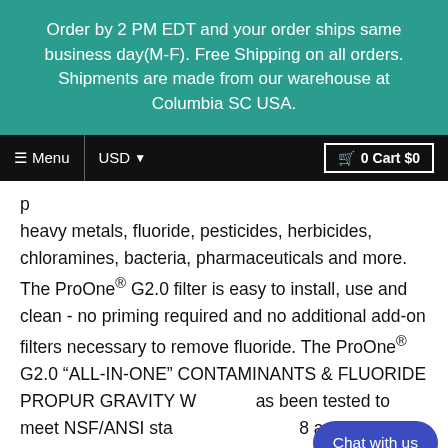Order by 2 PM EDT and your order ships same business day(M-F). Free Shipping on all orders. Shipments are made from our warehouse at Columbia SC USA.
≡ Menu  USD ▼  🛒 0 Cart $0
heavy metals, fluoride, pesticides, herbicides, chloramines, bacteria, pharmaceuticals and more. The ProOne® G2.0 filter is easy to install, use and clean - no priming required and no additional add-on filters necessary to remove fluoride. The ProOne® G2.0 "ALL-IN-ONE" CONTAMINANTS & FLUORIDE PROPUR GRAVITY WATER has been tested to meet NSF/ANSI standards 53, 42, 58 and NSF/ANSI Protocol P231.